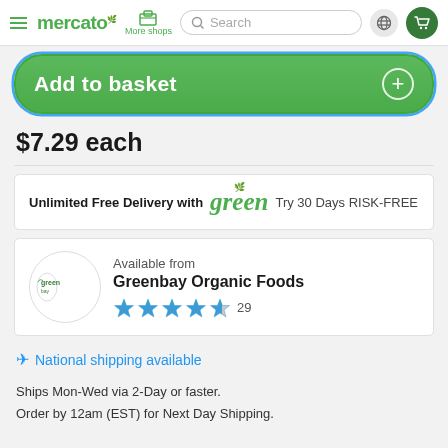mercato | More shops | Search
Add to basket
$7.29 each
Unlimited Free Delivery with green Try 30 Days RISK-FREE
Available from
Greenbay Organic Foods
29 reviews
National shipping available
Ships Mon-Wed via 2-Day or faster.
Order by 12am (EST) for Next Day Shipping.